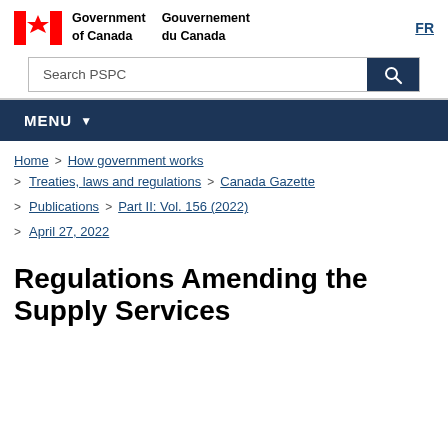[Figure (logo): Government of Canada / Gouvernement du Canada logo with Canadian flag maple leaf icon]
Search PSPC
MENU
Home > How government works
> Treaties, laws and regulations > Canada Gazette
> Publications > Part II: Vol. 156 (2022)
> April 27, 2022
Regulations Amending the Supply Services...